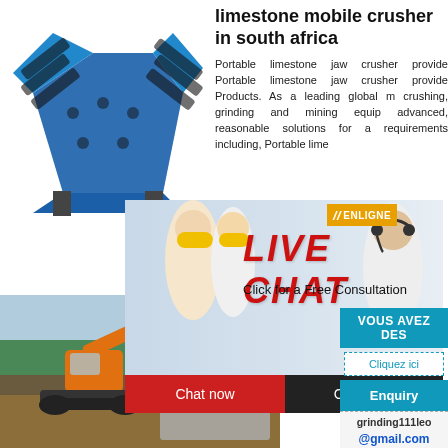limestone mobile crusher in south africa
Portable limestone jaw crusher provides Portable limestone jaw crusher provides Products. As a leading global manufacturer of crushing, grinding and mining equipment, we offer advanced, reasonable solutions for any size-requirements including, Portable limes...
[Figure (photo): Blue mobile jaw crusher machine on white background]
[Figure (photo): Live Chat banner overlay with construction workers wearing yellow hard hats, red LIVE CHAT text, 'Click for a Free Consultation', Chat now (red button) and Chat later (dark button), ENLIGNE badge]
[Figure (photo): Orange excavator at a quarry/mining site with forest in background]
plant
Jaw Crusher 0... 7 DOVE Jaw C... k c... highly efficient... r h... and Secondar... lica... ores and b... mp... below 320 ... a... Stationary co...
[Figure (infographic): Right side panel: VOUS AVEZ DES (teal header), Cliquez ici button (dashed border), Enquiry (teal button), grinding111leo (text), @gmail.com (text)]